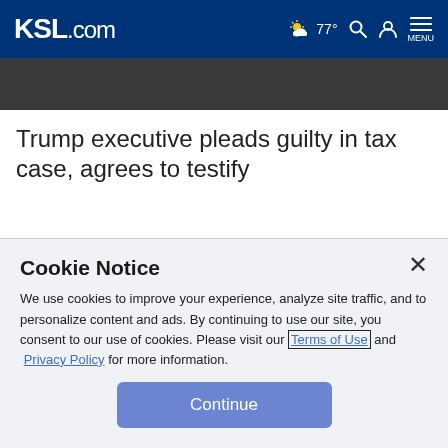KSL.com — 77° weather, search, account, menu
[Figure (photo): Partial photo strip showing a person, dark background]
Trump executive pleads guilty in tax case, agrees to testify
Cookie Notice
We use cookies to improve your experience, analyze site traffic, and to personalize content and ads. By continuing to use our site, you consent to our use of cookies. Please visit our Terms of Use and Privacy Policy for more information.
Continue